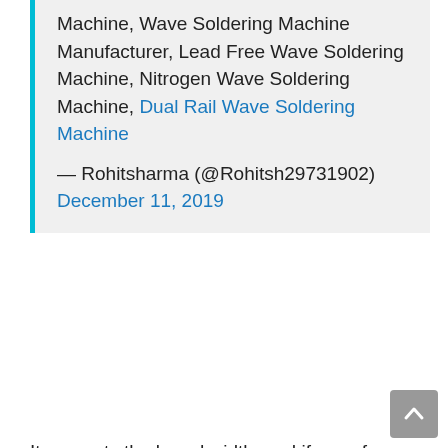Machine, Wave Soldering Machine Manufacturer, Lead Free Wave Soldering Machine, Nitrogen Wave Soldering Machine, Dual Rail Wave Soldering Machine
— Rohitsharma (@Rohitsh29731902) December 11, 2019
It requests the board width, and if easy for a board style. When a mother board is devote the device a microprocessor requests some information on the board. THE UNITED STATES, Latin America, Center East, Africa, and European countries have already been inspected to obtain a portfolio on the Global Pick-and-Place Device Market In accordance with Report Specialist, the global industry is likely to develop in the forecast period of time. We only have confidence in